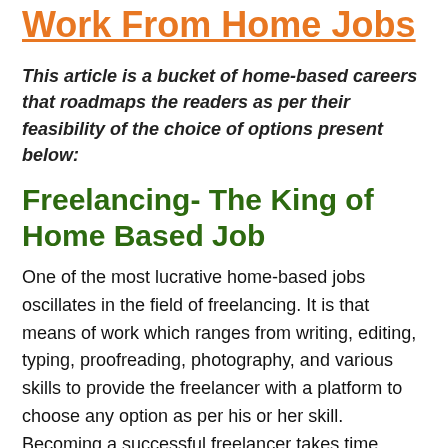Work From Home Jobs
This article is a bucket of home-based careers that roadmaps the readers as per their feasibility of the choice of options present below:
Freelancing- The King of Home Based Job
One of the most lucrative home-based jobs oscillates in the field of freelancing. It is that means of work which ranges from writing, editing, typing, proofreading, photography, and various skills to provide the freelancer with a platform to choose any option as per his or her skill. Becoming a successful freelancer takes time because, at the initial pays, you do not receive a higher amount of